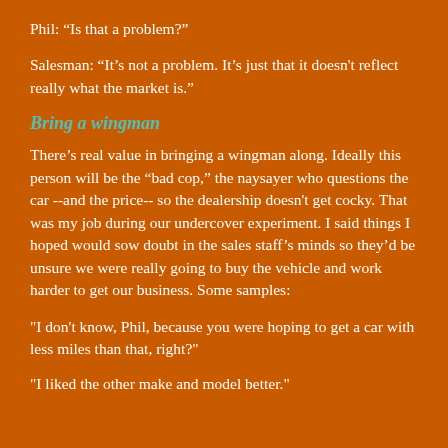Phil: “Is that a problem?”
Salesman: “It’s not a problem. It’s just that it doesn't reflect really what the market is.”
Bring a wingman
There’s real value in bringing a wingman along. Ideally this person will be the “bad cop,” the naysayer who questions the car --and the price-- so the dealership doesn't get cocky. That was my job during our undercover experiment. I said things I hoped would sow doubt in the sales staff’s minds so they’d be unsure we were really going to buy the vehicle and work harder to get our business. Some samples:
"I don't know, Phil, because you were hoping to get a car with less miles than that, right?"
"I liked the other make and model better."